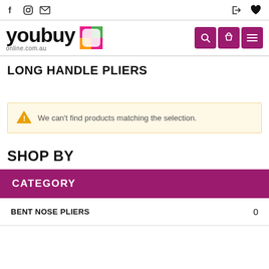youbuy online.com.au
LONG HANDLE PLIERS
We can't find products matching the selection.
SHOP BY
CATEGORY
BENT NOSE PLIERS  0